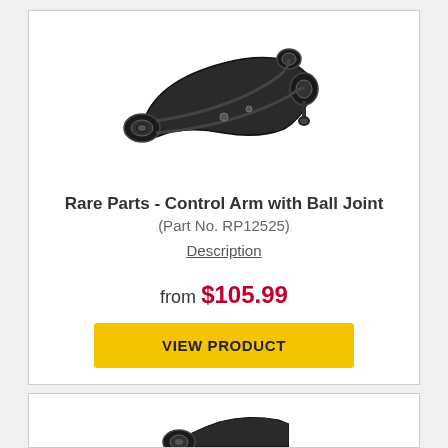[Figure (photo): Control arm with ball joint automotive part (Rare Parts RP12525) – metal suspension component, dark/black finish, curved arm with bushings at both ends and a ball joint]
Rare Parts - Control Arm with Ball Joint
(Part No. RP12525)
Description
from $105.99
VIEW PRODUCT
[Figure (photo): Partial view of another automotive part (control arm or similar), dark metal, partially visible at bottom of page]